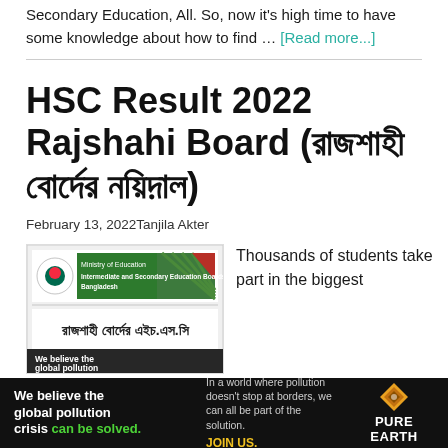Secondary Education, All. So, now it's high time to have some knowledge about how to find … [Read more...]
HSC Result 2022 Rajshahi Board (রাজশাহী বোর্ডের ফলাফল)
February 13, 2022 Tanjila Akter
[Figure (screenshot): Ministry of Education - Intermediate and Secondary Education Boards Bangladesh website screenshot showing Bengali text রাজশাহী বোর্ডের এইচ.এস.সি]
Thousands of students take part in the biggest
[Figure (infographic): Pure Earth advertisement banner: 'We believe the global pollution crisis can be solved.' with text about world pollution and JOIN US call to action]